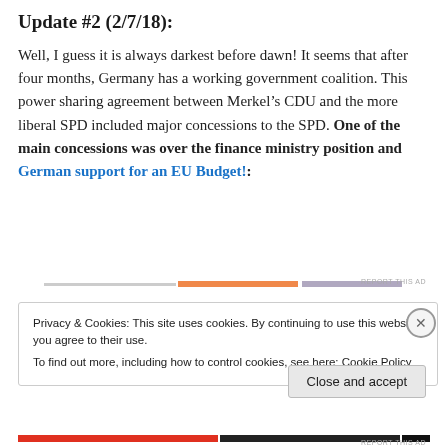Update #2 (2/7/18):
Well, I guess it is always darkest before dawn! It seems that after four months, Germany has a working government coalition. This power sharing agreement between Merkel’s CDU and the more liberal SPD included major concessions to the SPD. One of the main concessions was over the finance ministry position and German support for an EU Budget!:
[Figure (infographic): Ad banner with orange and light purple horizontal bars and REPORT THIS AD label]
Privacy & Cookies: This site uses cookies. By continuing to use this website, you agree to their use.
To find out more, including how to control cookies, see here: Cookie Policy
[Figure (infographic): Close and accept button and X close icon in cookie notification box]
[Figure (infographic): Bottom ad banner with red/orange and black horizontal bars and REPORT THIS AD label]